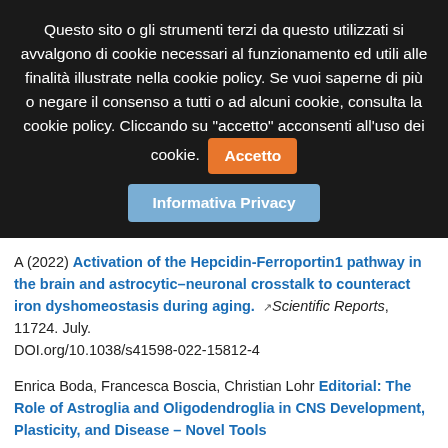Questo sito o gli strumenti terzi da questo utilizzati si avvalgono di cookie necessari al funzionamento ed utili alle finalità illustrate nella cookie policy. Se vuoi saperne di più o negare il consenso a tutti o ad alcuni cookie, consulta la cookie policy. Cliccando su "accetto" acconsenti all'uso dei cookie.  [Accetto]  [Informativa Privacy]
A (2022) Activation of the Hepcidin-Ferroportin1 pathway in the brain and astrocytic–neuronal crosstalk to counteract iron dyshomeostasis during aging. Scientific Reports, 11724. July. DOI.org/10.1038/s41598-022-15812-4
Enrica Boda, Francesca Boscia, Christian Lohr Editorial: The Role of Astroglia and Oligodendroglia in CNS Development, Plasticity, and Disease – Novel Tools